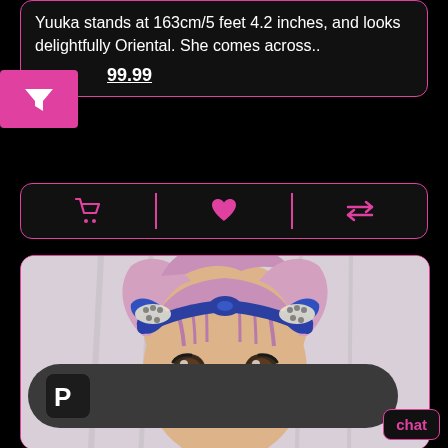Yuuka stands at 163cm/5 feet 4.2 inches, and looks delightfully Oriental. She comes across..
99.99
[Figure (screenshot): E-commerce product listing app screenshot showing a doll product card with pink/black UI, action bar with cart, heart, and compare icons, product image of anime-style doll with pink hair and blue bow headband, PayPal payment bar, and chat button.]